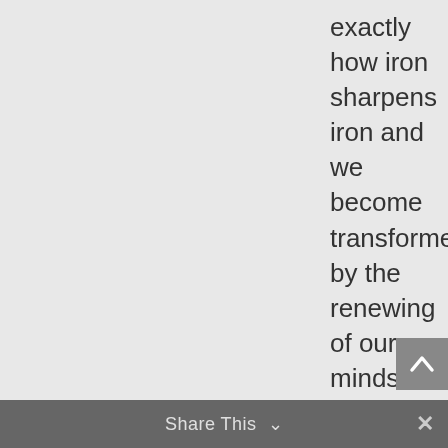exactly how iron sharpens iron and we become transformed by the renewing of our minds (Romans 12:2), else, what are we here for? If we don't know what
Share This ∨  ✕